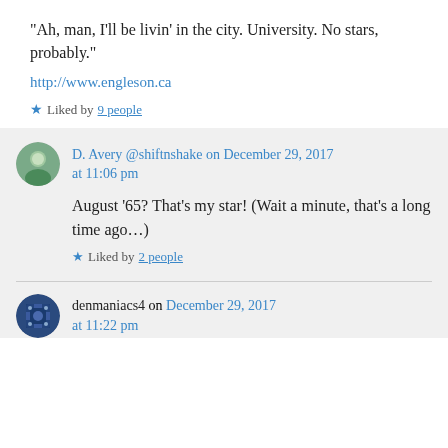“Ah, man, I’ll be livin’ in the city. University. No stars, probably.”
http://www.engleson.ca
Liked by 9 people
D. Avery @shiftnshake on December 29, 2017 at 11:06 pm
August ’65? That’s my star! (Wait a minute, that’s a long time ago…)
Liked by 2 people
denmaniacs4 on December 29, 2017 at 11:22 pm